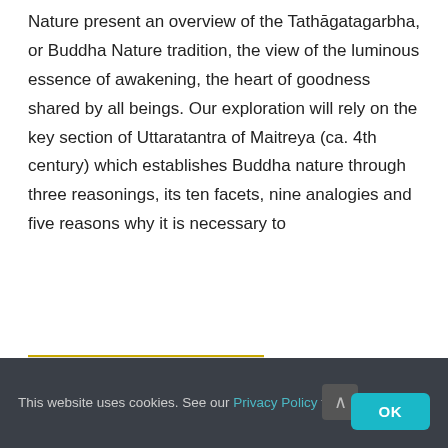along with Uttarantantra. The teachings on Buddha Nature present an overview of the Tathāgatagarbha, or Buddha Nature tradition, the view of the luminous essence of awakening, the heart of goodness shared by all beings. Our exploration will rely on the key section of Uttaratantra of Maitreya (ca. 4th century) which establishes Buddha nature through three reasonings, its ten facets, nine analogies and five reasons why it is necessary to
[Figure (photo): Photo of colorful flowers (red, white, yellow) in small vases against a light background, with a golden/yellow horizontal line border at the top.]
This website uses cookies. See our Privacy Policy for more info.